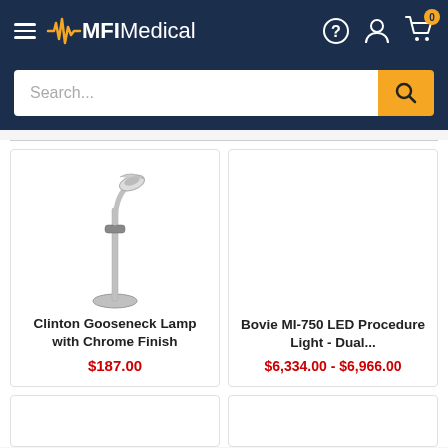MFI Medical
Search...
[Figure (photo): Clinton Gooseneck Lamp with Chrome Finish - tall floor lamp with adjustable gooseneck arm and round base]
Clinton Gooseneck Lamp with Chrome Finish
$187.00
[Figure (photo): Bovie MI-750 LED Procedure Light - Dual... (no image shown)]
Bovie MI-750 LED Procedure Light - Dual...
$6,334.00 - $6,966.00